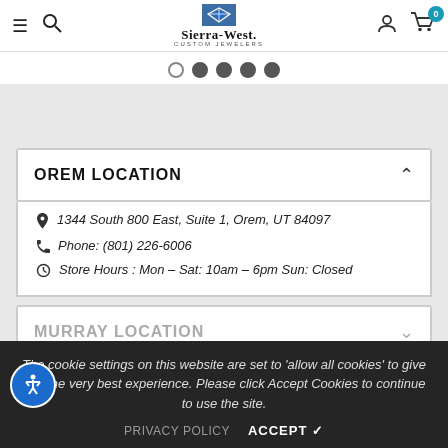[Figure (screenshot): Sierra-West Custom Jewelers website header with hamburger menu, search icon, logo, user icon, and cart with badge showing 0]
[Figure (other): Carousel navigation dots: 5 dots, first empty, rest filled]
OREM LOCATION
1344 South 800 East, Suite 1, Orem, UT 84097
Phone: (801) 226-6006
Store Hours : Mon – Sat: 10am – 6pm Sun: Closed
MURRAY LOCATION
The cookie settings on this website are set to 'allow all cookies' to give you the very best experience. Please click Accept Cookies to continue to use the site.
PRIVACY POLICY    ACCEPT ✔